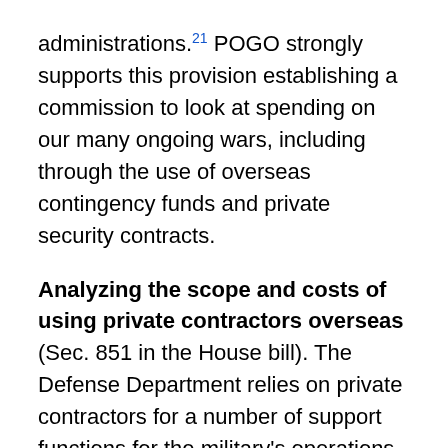administrations.21 POGO strongly supports this provision establishing a commission to look at spending on our many ongoing wars, including through the use of overseas contingency funds and private security contracts.
Analyzing the scope and costs of using private contractors overseas (Sec. 851 in the House bill). The Defense Department relies on private contractors for a number of support functions for the military's operations, including everything from weapons maintenance to providing food